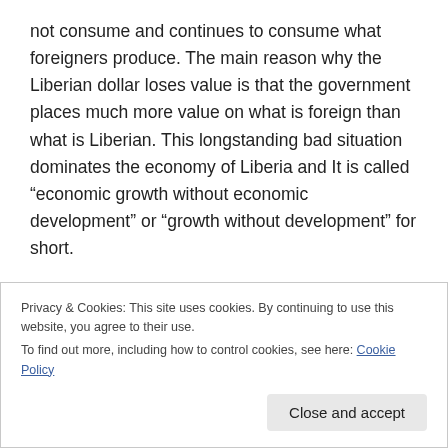not consume and continues to consume what foreigners produce. The main reason why the Liberian dollar loses value is that the government places much more value on what is foreign than what is Liberian. This longstanding bad situation dominates the economy of Liberia and It is called “economic growth without economic development” or “growth without development” for short.
No country in this world has experienced progress, the sustained Improvement in the living conditions of its citizens, by using the way to manage the economy that the
Privacy & Cookies: This site uses cookies. By continuing to use this website, you agree to their use.
To find out more, including how to control cookies, see here: Cookie Policy